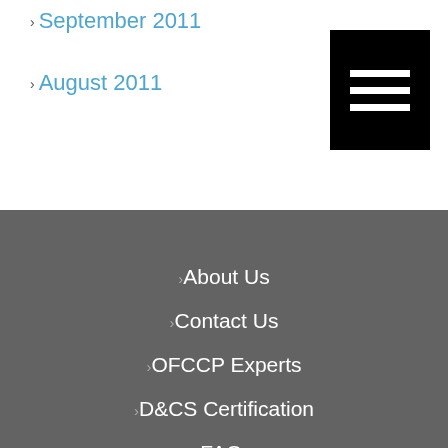September 2011
August 2011
[Figure (other): Black square with three horizontal white bars (hamburger/menu icon)]
About Us
Contact Us
OFCCP Experts
D&CS Certification
FAQs
Meet Our Team
Privacy Policy
Resources